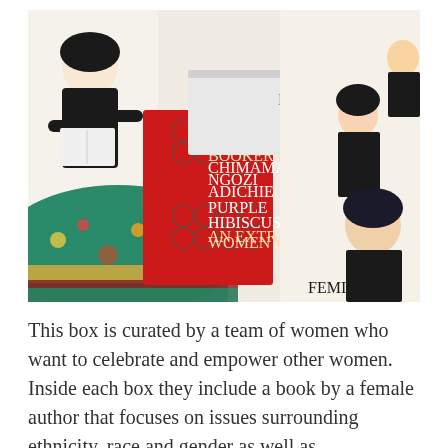[Figure (photo): A flat-lay photograph showing a subscription box with feminist-themed contents: a red book 'Purple Hibiscus' by Chimamanda Ngozi Adichie, a tote bag with illustrated women reading, a small round tin labeled 'Go Away', a small pin/badge, and a fabric with 'FEMINIST' text and illustrated women.]
This box is curated by a team of women who want to celebrate and empower other women. Inside each box they include a book by a female author that focuses on issues surrounding ethnicity, race and gender as well as